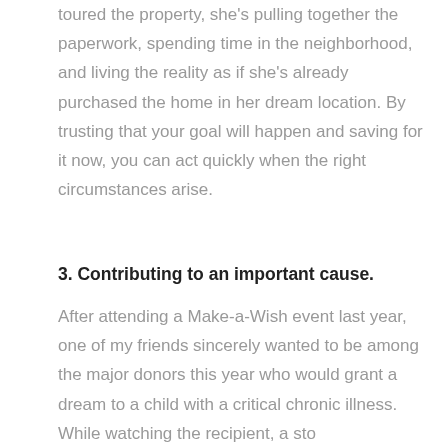toured the property, she's pulling together the paperwork, spending time in the neighborhood, and living the reality as if she's already purchased the home in her dream location. By trusting that your goal will happen and saving for it now, you can act quickly when the right circumstances arise.
3. Contributing to an important cause.
After attending a Make-a-Wish event last year, one of my friends sincerely wanted to be among the major donors this year who would grant a dream to a child with a critical chronic illness. While watching the recipient, a story…